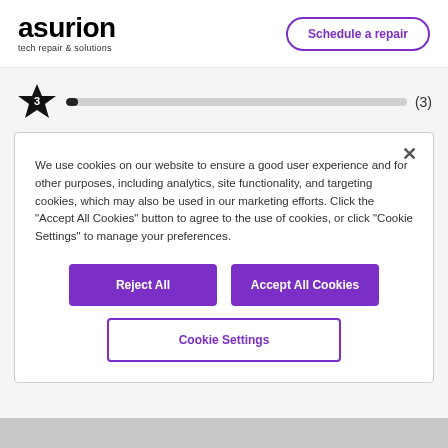asurion tech repair & solutions | Schedule a repair
[Figure (other): Star rating widget showing a black star with number 3 inside, a horizontal progress bar mostly gray with a small dark fill, and count (3)]
We use cookies on our website to ensure a good user experience and for other purposes, including analytics, site functionality, and targeting cookies, which may also be used in our marketing efforts. Click the "Accept All Cookies" button to agree to the use of cookies, or click "Cookie Settings" to manage your preferences.
Reject All
Accept All Cookies
Cookie Settings